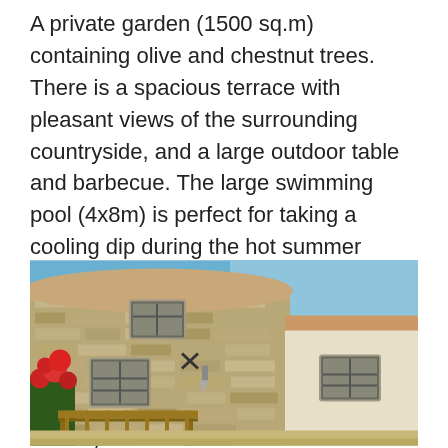A private garden (1500 sq.m) containing olive and chestnut trees. There is a spacious terrace with pleasant views of the surrounding countryside, and a large outdoor table and barbecue. The large swimming pool (4x8m) is perfect for taking a cooling dip during the hot summer months and features a shaded terrace where you can lay back and relax and take in the stunning scenery. There is an outdoor Jacuzzi that has been recently added to unwind at the end of the day.
[Figure (photo): Exterior photo of a stone farmhouse/villa with multiple windows with iron grilles, a pergola structure in the foreground, red flowering plants on the left, and a clear blue sky background.]